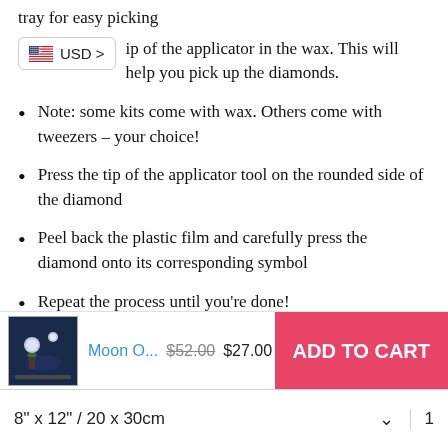tray for easy picking
ip of the applicator in the wax. This will help you pick up the diamonds.
Note: some kits come with wax. Others come with tweezers - your choice!
Press the tip of the applicator tool on the rounded side of the diamond
Peel back the plastic film and carefully press the diamond onto its corresponding symbol
Repeat the process until you're done!
[Figure (screenshot): Add to cart bar showing Moon O... product thumbnail, original price $52.00, sale price $27.00, and ADD TO CART button]
8" x 12" / 20 x 30cm  1